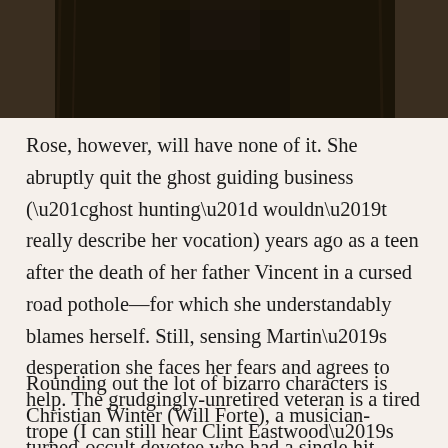[Figure (photo): Dark photograph showing figures, partially visible at the top of the page]
Rose, however, will have none of it. She abruptly quit the ghost guiding business (“ghost hunting” wouldn’t really describe her vocation) years ago as a teen after the death of her father Vincent in a cursed road pothole—for which she understandably blames herself. Still, sensing Martin’s desperation she faces her fears and agrees to help. The grudgingly-unretired veteran is a tired trope (I can still hear Clint Eastwood’s Unforgiven growl, “I ain’t like that no more”) but Higgins pulls it off.
Rounding out the lot of bizarro characters is Christian Winter (Will Forte), a musician-turned-occult devotee who had a single hit decades ago and has decided to